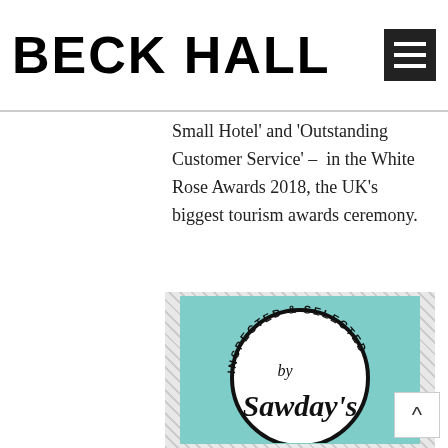BECK HALL
Small Hotel' and 'Outstanding Customer Service' –  in the White Rose Awards 2018, the UK's biggest tourism awards ceremony.
[Figure (logo): Sawday's badge: a circular seal on a teal background reading 'INSPECTED & SELECTED by Sawday's']